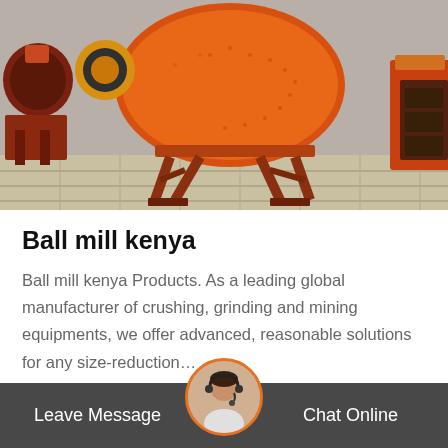[Figure (photo): Industrial ball mill machinery in orange/red color, large cylindrical grinding equipment on heavy metal frame supports, photographed outdoors]
Ball mill kenya
Ball mill kenya Products. As a leading global manufacturer of crushing, grinding and mining equipments, we offer advanced, reasonable solutions for any size-reduction…
Get Price
Leave Message  Chat Online